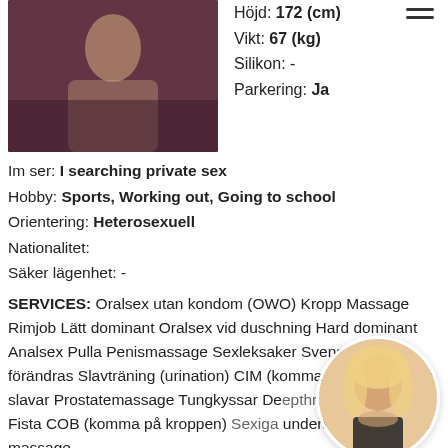[Figure (photo): Main profile photo of a person in a dark/maroon background]
Höjd: 172 (cm)
Vikt: 67 (kg)
Silikon: -
Parkering: Ja
Im ser: I searching private sex
Hobby: Sports, Working out, Going to school
Orientering: Heterosexuell
Nationalitet:
Säker lägenhet: -
SERVICES: Oralsex utan kondom (OWO) Kropp Massage Rimjob Lätt dominant Oralsex vid duschning Hard dominant Analsex Pulla Penismassage Sexleksaker Svensexa Roll förändras Slavträning (urination) CIM (komma i munnen) Kyss slavar Prostatemassage Tungkyssar Deepthroat (i halsen) Fista COB (komma på kroppen) Sexiga underkläder Glidande massage
[Figure (photo): Circular thumbnail profile photo of a blonde person]